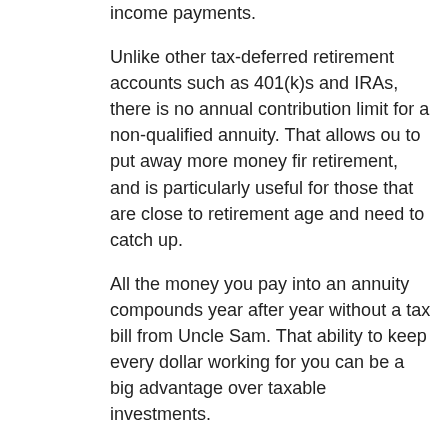income payments.
Unlike other tax-deferred retirement accounts such as 401(k)s and IRAs, there is no annual contribution limit for a non-qualified annuity. That allows ou to put away more money fir retirement, and is particularly useful for those that are close to retirement age and need to catch up.
All the money you pay into an annuity compounds year after year without a tax bill from Uncle Sam. That ability to keep every dollar working for you can be a big advantage over taxable investments.
When you cash out, you can choose to take a lump-sum payment from your annuity however most retirees prefer to set up guaranteed payments for a specific length of time, or for the rest of their life, providing a steady stream of income.
The annuity serves as a complement to other